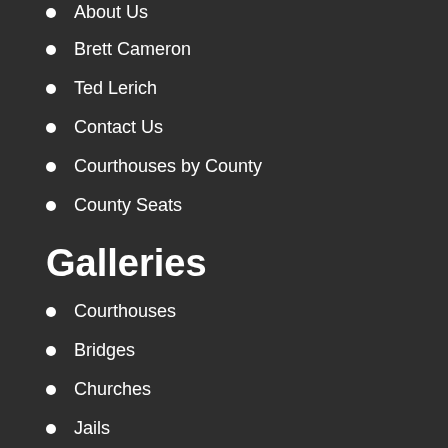About Us
Brett Cameron
Ted Lerich
Contact Us
Courthouses by County
County Seats
Galleries
Courthouses
Bridges
Churches
Jails
Theaters